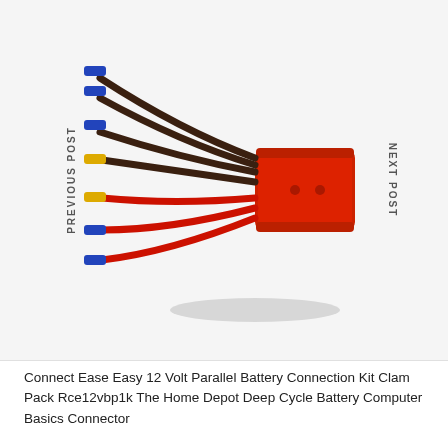[Figure (photo): A red Anderson-style parallel battery connection kit with multiple wires: blue and yellow female spade connectors on the left side of brown and red wires, connecting to a large red rectangular connector block on the right.]
Connect Ease Easy 12 Volt Parallel Battery Connection Kit Clam Pack Rce12vbp1k The Home Depot Deep Cycle Battery Computer Basics Connector